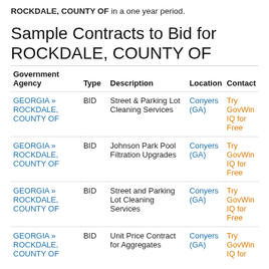ROCKDALE, COUNTY OF in a one year period.
Sample Contracts to Bid for ROCKDALE, COUNTY OF
| Government Agency | Type | Description | Location | Contact |
| --- | --- | --- | --- | --- |
| GEORGIA » ROCKDALE, COUNTY OF | BID | Street & Parking Lot Cleaning Services | Conyers (GA) | Try GovWin IQ for Free |
| GEORGIA » ROCKDALE, COUNTY OF | BID | Johnson Park Pool Filtration Upgrades | Conyers (GA) | Try GovWin IQ for Free |
| GEORGIA » ROCKDALE, COUNTY OF | BID | Street and Parking Lot Cleaning Services | Conyers (GA) | Try GovWin IQ for Free |
| GEORGIA » ROCKDALE, COUNTY OF | BID | Unit Price Contract for Aggregates | Conyers (GA) | Try GovWin IQ for |